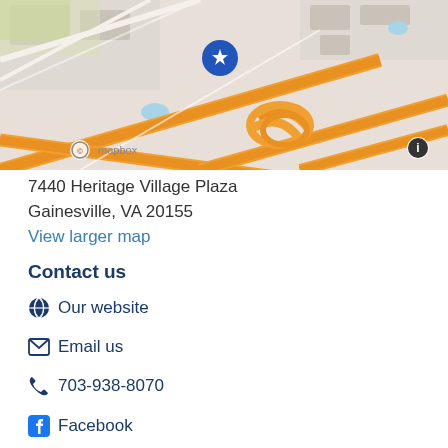[Figure (map): Mapbox street map showing location at 7440 Heritage Village Plaza, Gainesville VA, with orange highways/roads and a blue location pin marker. Mapbox attribution logo and info button visible.]
7440 Heritage Village Plaza
Gainesville, VA 20155
View larger map
Contact us
Our website
Email us
703-938-8070
Facebook